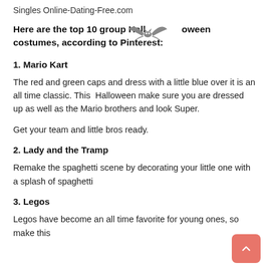Singles Online-Dating-Free.com
Here are the top 10 group Halloween costumes, according to Pinterest:
1. Mario Kart
The red and green caps and dress with a little blue over it is an all time classic. This  Halloween make sure you are dressed up as well as the Mario brothers and look Super.
Get your team and little bros ready.
2. Lady and the Tramp
Remake the spaghetti scene by decorating your little one with a splash of spaghetti
3. Legos
Legos have become an all time favorite for young ones, so make this